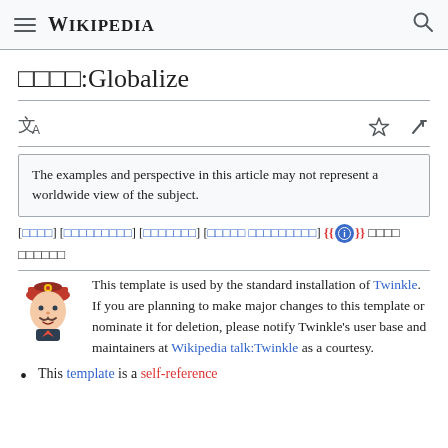Wikipedia
□□□□:Globalize
The examples and perspective in this article may not represent a worldwide view of the subject.
[□□□□] [□□□□□□□□□] [□□□□□□□] [□□□□□ □□□□□□□□□] {{ⓘ}} □□□□ □□□□□□
This template is used by the standard installation of Twinkle. If you are planning to make major changes to this template or nominate it for deletion, please notify Twinkle's user base and maintainers at Wikipedia talk:Twinkle as a courtesy.
This template is a self-reference